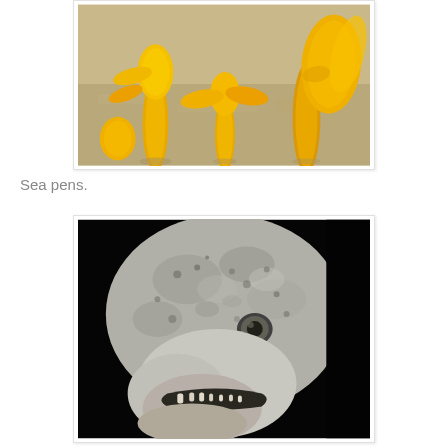[Figure (photo): Close-up underwater photograph of yellow sea pens (marine invertebrates) on a sandy seafloor. The organisms are bright golden-yellow with feathery, fan-like structures visible.]
Sea pens.
[Figure (photo): Close-up photograph of the head of a wolf eel or similar deep-sea fish against a black background. The head is mottled grey-white with a visible small eye and open mouth showing small teeth.]